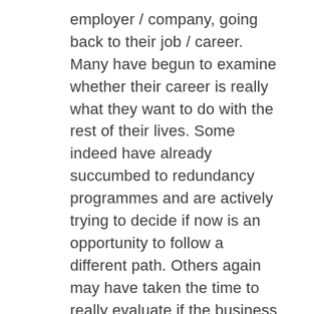employer / company, going back to their job / career. Many have begun to examine whether their career is really what they want to do with the rest of their lives. Some indeed have already succumbed to redundancy programmes and are actively trying to decide if now is an opportunity to follow a different path. Others again may have taken the time to really evaluate if the business idea is something that they can realistically pursue. More again have realised that they really do not want to go back to their old job, the thought of it filling them with dread, and are now looking at how they can use their knowledge, talents, skills & strengths to build something new by themselves.